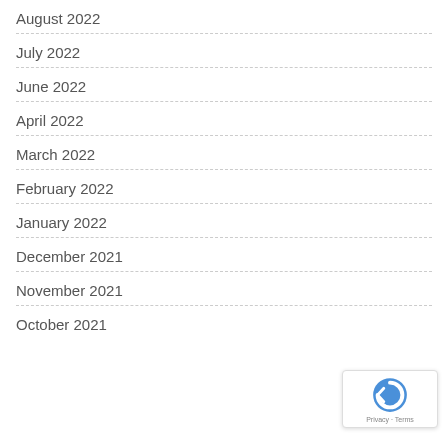August 2022
July 2022
June 2022
April 2022
March 2022
February 2022
January 2022
December 2021
November 2021
October 2021